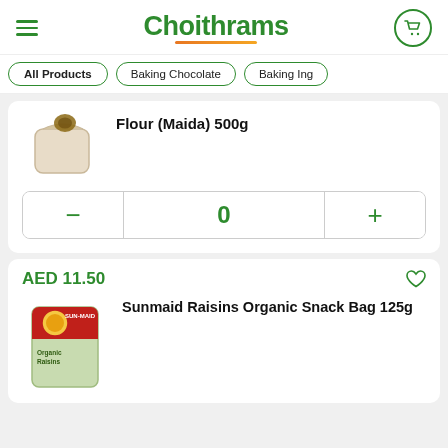Choithrams
All Products
Baking Chocolate
Baking Ing
Flour (Maida) 500g
0
AED 11.50
Sunmaid Raisins Organic Snack Bag 125g